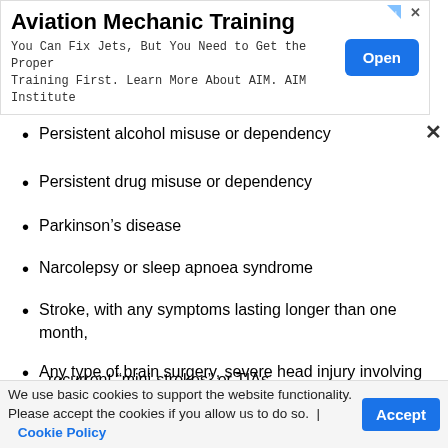[Figure (other): Advertisement banner for Aviation Mechanic Training with an Open button]
Persistent alcohol misuse or dependency
Persistent drug misuse or dependency
Parkinson's disease
Narcolepsy or sleep apnoea syndrome
Stroke, with any symptoms lasting longer than one month, recurrent “mini-strokes” or TIAs
Any type of brain surgery, severe head injury involving inpatient treatment, or brain tumour
Any other chronic neurological condition
We use basic cookies to support the website functionality. Please accept the cookies if you allow us to do so. | Cookie Policy  Accept